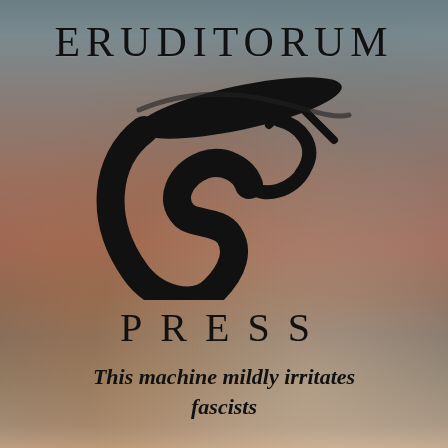[Figure (logo): Eruditorum Press logo page with painterly background (classical painting, muted warm tones) overlaid with 'ERUDITORUM' text at top, a stylized 'EP' calligraphic logo mark in the center, 'PRESS' in spaced letters below, and italic bold tagline at the bottom.]
ERUDITORUM
PRESS
This machine mildly irritates fascists